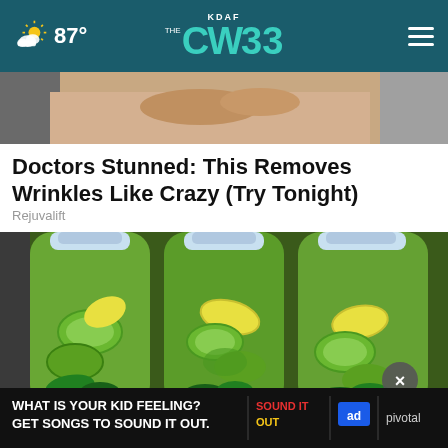KDAF CW33 — 87°
[Figure (photo): Partial photo of a person's face/hand at top of article]
Doctors Stunned: This Removes Wrinkles Like Crazy (Try Tonight)
Rejuvalift
[Figure (photo): Three plastic water bottles filled with green infused water, cucumbers, mint, and lemon slices]
[Figure (infographic): Ad banner: WHAT IS YOUR KID FEELING? GET SONGS TO SOUND IT OUT. SOUND IT OUT — ad council — pivotal]